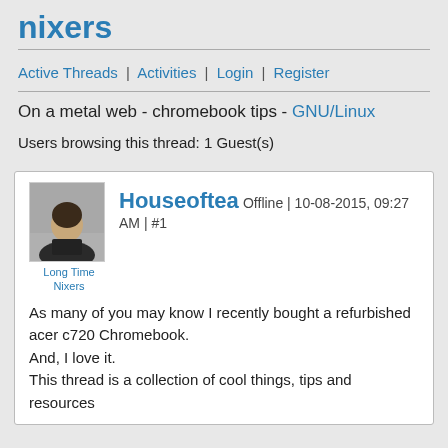nixers
Active Threads | Activities | Login | Register
On a metal web - chromebook tips - GNU/Linux
Users browsing this thread: 1 Guest(s)
Houseoftea Offline | 10-08-2015, 09:27 AM | #1
Long Time
Nixers
As many of you may know I recently bought a refurbished acer c720 Chromebook.
And, I love it.
This thread is a collection of cool things, tips and resources